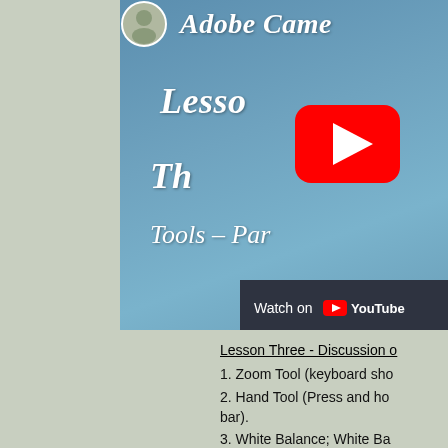[Figure (screenshot): YouTube video thumbnail for Adobe Camera Raw Lesson Three - Tools Part, showing a blue-grey background with white italic text 'Adobe Came...' and 'Lesson Th...' and 'Tools - Par...' with a YouTube play button overlay and a 'Watch on YouTube' bar at the bottom.]
Lesson Three - Discussion o...
1. Zoom Tool (keyboard sho...
2. Hand Tool (Press and ho... bar).
3. White Balance; White Ba... Dropper Tool.